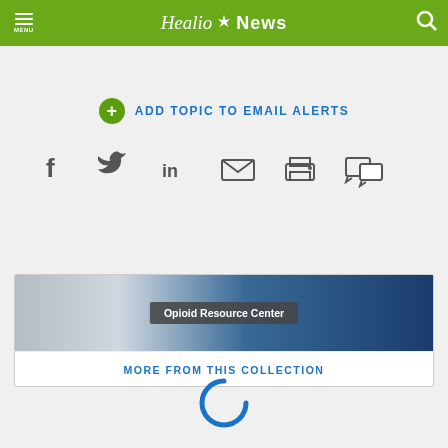Healio News
ADD TOPIC TO EMAIL ALERTS
[Figure (infographic): Social sharing icons: Facebook, Twitter, LinkedIn, Email, Print, Comments]
[Figure (photo): Opioid Resource Center banner with text overlay]
MORE FROM THIS COLLECTION
[Figure (infographic): Loading spinner (blue C-shaped arc)]